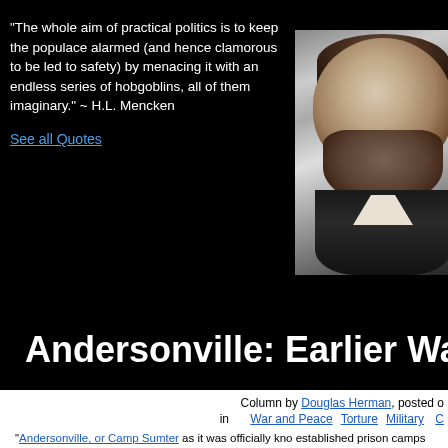"The whole aim of practical politics is to keep the populace alarmed (and hence clamorous to be led to safety) by menacing it with an endless series of hobgoblins, all of them imaginary." ~ H.L. Mencken
See all Quotes
[Figure (photo): Black and white portrait photograph of a man with medium-length hair and a beard, wearing a dark jacket and white collar, appearing to be from the 19th century.]
Andersonville: Earlier War Cr
Column by Douglas Herman, posted o
in  War and Peace  Torture  Military  C
"Andersonville, or Camp Sumter as it was officially kno established prison camps during the American Civil War, historian, Kevin Frye. "It was built early in 1864 after Con h d f F d d d i i d Di